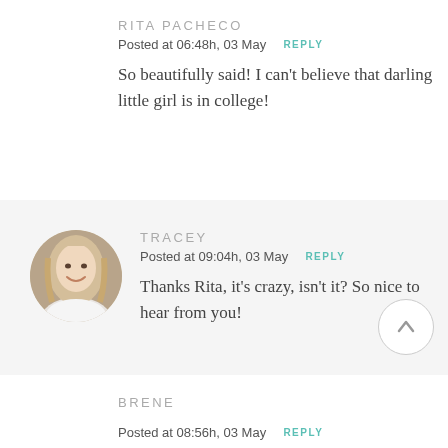RITA PACHECO
Posted at 06:48h, 03 May  REPLY
So beautifully said! I can't believe that darling little girl is in college!
[Figure (photo): Circular avatar photo of Tracey, a blonde woman smiling, wearing a white top]
TRACEY
Posted at 09:04h, 03 May  REPLY
Thanks Rita, it's crazy, isn't it? So nice to hear from you!
BRENE
Posted at 08:56h, 03 May  REPLY